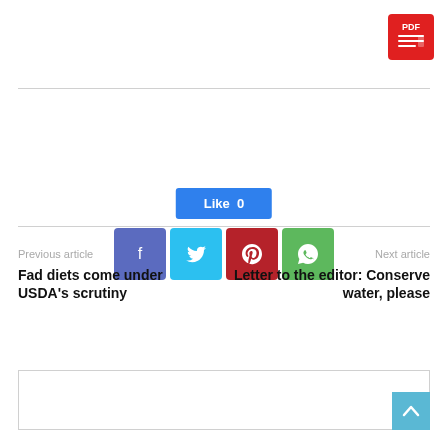[Figure (logo): PDF icon button in top right corner, red background with PDF text and document lines]
[Figure (infographic): Social sharing section with Like button (blue, count 0) and four social media icon buttons: Facebook (purple-blue), Twitter (light blue), Pinterest (dark red), WhatsApp (green)]
Previous article
Fad diets come under USDA's scrutiny
Next article
Letter to the editor: Conserve water, please
[Figure (other): Empty comment/content box with border at bottom of page]
[Figure (other): Scroll to top button, teal/cyan background with upward arrow, bottom right corner]